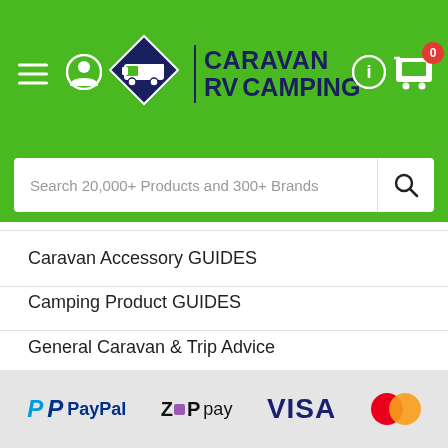[Figure (logo): Caravan RV Camping website header with green background, hamburger menu, user icon, diamond-shaped logo with caravan, site name 'CARAVAN RV CAMPING', info icon, and shopping cart with badge showing 0]
Search 20,000+ Products and 300+ Brands
Caravan Accessory GUIDES
Camping Product GUIDES
General Caravan & Trip Advice
Travel Destination Articles
[Figure (logo): Payment method logos: PayPal, Zip pay, VISA, Mastercard, and Direct Brand Direct badge]